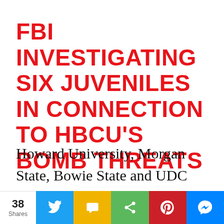FBI INVESTIGATING SIX JUVENILES IN CONNECTION TO HBCU's BOMB THREATS
Howard University, Morgan State, Bowie State and UDC have been targeted with bomb threats, that began on Feb. 1; the first day of Black History Month; forcing the institutions to mandate shelter-in place orders. Thus, a
38 Shares